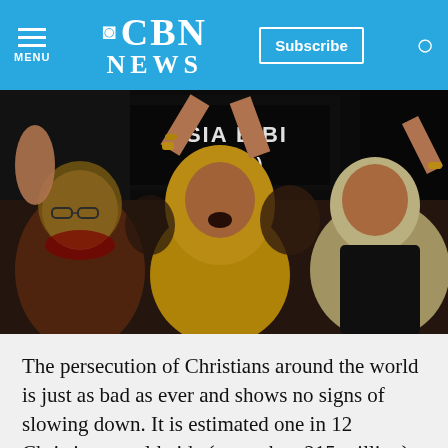CBN NEWS — Subscribe — Menu — Search
[Figure (photo): Protest scene showing women in headscarves with raised arms and open mouths chanting, with a black banner reading 'ASIA BIBI (APMA)' visible in the background.]
The persecution of Christians around the world is just as bad as ever and shows no signs of slowing down. It is estimated one in 12 Christians worldwide (more than 215 million) faces high